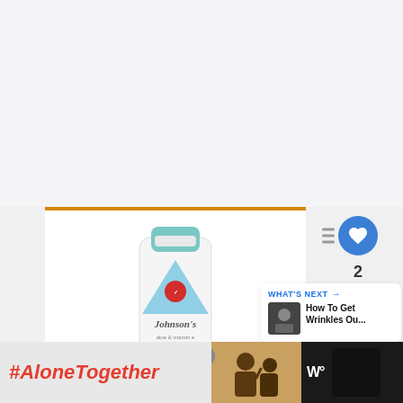[Figure (photo): Johnson's baby powder bottle with blue cap and blue triangular label, aloe & vitamin e powder, displayed inside a white box with orange top border]
[Figure (infographic): Right sidebar UI elements: like button (blue circle with heart), count '2', share button (white circle with share icon)]
2
[Figure (infographic): What's Next panel with thumbnail image and text: How To Get Wrinkles Ou...]
WHAT'S NEXT → How To Get Wrinkles Ou...
[Figure (screenshot): Bottom advertisement bar: #AloneTogether text in red italic on light background, family photo on right side, close X button, and W logo in dark box]